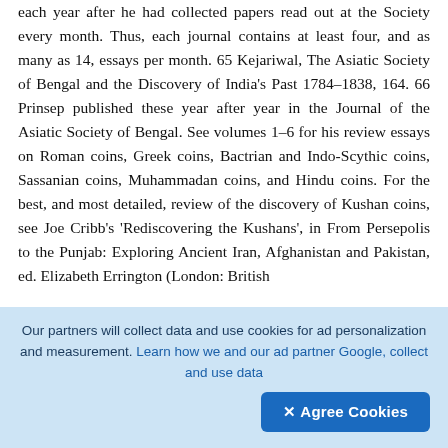each year after he had collected papers read out at the Society every month. Thus, each journal contains at least four, and as many as 14, essays per month. 65 Kejariwal, The Asiatic Society of Bengal and the Discovery of India's Past 1784–1838, 164. 66 Prinsep published these year after year in the Journal of the Asiatic Society of Bengal. See volumes 1–6 for his review essays on Roman coins, Greek coins, Bactrian and Indo-Scythic coins, Sassanian coins, Muhammadan coins, and Hindu coins. For the best, and most detailed, review of the discovery of Kushan coins, see Joe Cribb's 'Rediscovering the Kushans', in From Persepolis to the Punjab: Exploring Ancient Iran, Afghanistan and Pakistan, ed. Elizabeth Errington (London: British
[Figure (other): Upload/action button — dark rounded square with a circled up-arrow icon]
Our partners will collect data and use cookies for ad personalization and measurement. Learn how we and our ad partner Google, collect and use data
✕ Agree Cookies